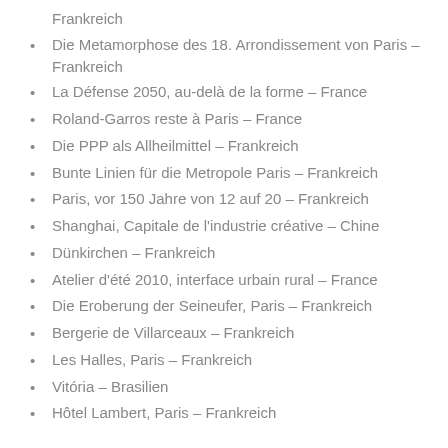Frankreich
Die Metamorphose des 18. Arrondissement von Paris – Frankreich
La Défense 2050, au-delà de la forme – France
Roland-Garros reste à Paris – France
Die PPP als Allheilmittel – Frankreich
Bunte Linien für die Metropole Paris – Frankreich
Paris, vor 150 Jahre von 12 auf 20 – Frankreich
Shanghai, Capitale de l'industrie créative – Chine
Dünkirchen – Frankreich
Atelier d'été 2010, interface urbain rural – France
Die Eroberung der Seineufer, Paris – Frankreich
Bergerie de Villarceaux – Frankreich
Les Halles, Paris – Frankreich
Vitória – Brasilien
Hôtel Lambert, Paris – Frankreich